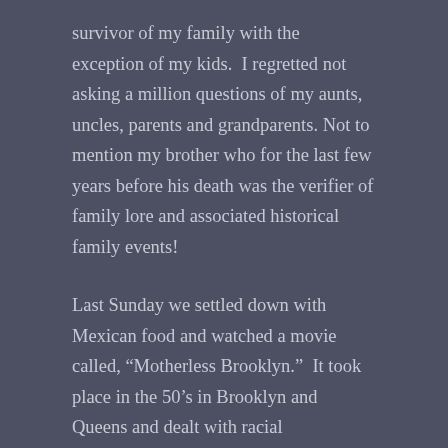survivor of my family with the exception of my kids.  I regretted not asking a million questions of my aunts, uncles, parents and grandparents. Not to mention my brother who for the last few years before his death was the verifier of family lore and associated historical family events!
Last Sunday we settled down with Mexican food and watched a movie called, “Motherless Brooklyn.”  It took place in the 50’s in Brooklyn and Queens and dealt with racial discrimination and unethical politics.  Very timely and appropriate to today’s conditions.  After the movie ended my daughter asked if that was what it was like in the 50’s in the boroughs.  Of course the cars and the architecture took me back to my childhood, but so